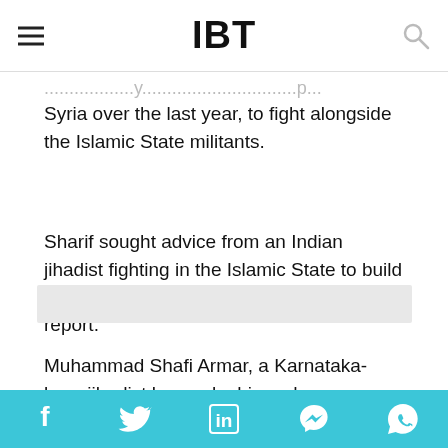IBT
Syria over the last year, to fight alongside the Islamic State militants.
Sharif sought advice from an Indian jihadist fighting in the Islamic State to build bombs and select targets, according to the report.
Muhammad Shafi Armar, a Karnataka-born jihadist known by his code name Yusuf,